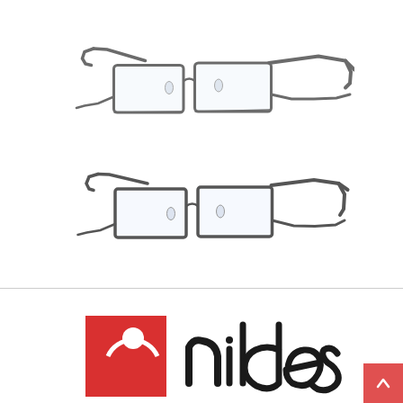[Figure (illustration): Two pairs of dark gray/charcoal metal eyeglass frames shown from a 3/4 angle view. Top pair shows lighter gray frames with rectangular lenses and thin temples. Bottom pair shows similarly styled darker gray rectangular metal frames. Both pairs appear to be Nike brand optical frames.]
[Figure (logo): Nildes brand logo. Red square on left with partial circular symbol. Black cursive/handwritten text reading 'nildes' to the right. Red scroll-to-top button with upward chevron arrow in bottom right corner.]